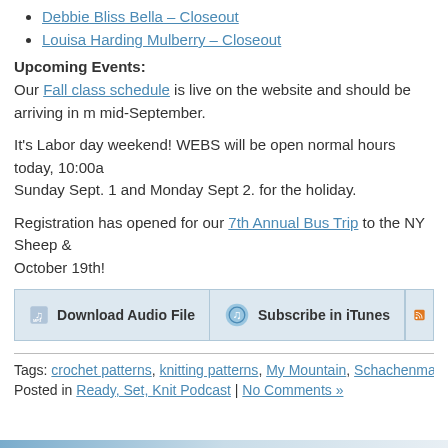Debbie Bliss Bella – Closeout
Louisa Harding Mulberry – Closeout
Upcoming Events:
Our Fall class schedule is live on the website and should be arriving in mid-September.
It's Labor day weekend! WEBS will be open normal hours today, 10:00a Sunday Sept. 1 and Monday Sept 2. for the holiday.
Registration has opened for our 7th Annual Bus Trip to the NY Sheep & October 19th!
[Figure (screenshot): Two buttons: 'Download Audio File' and 'Subscribe in iTunes', and a partial third button with RSS icon]
Tags: crochet patterns, knitting patterns, My Mountain, Schachenmayr,
Posted in Ready, Set, Knit Podcast | No Comments »